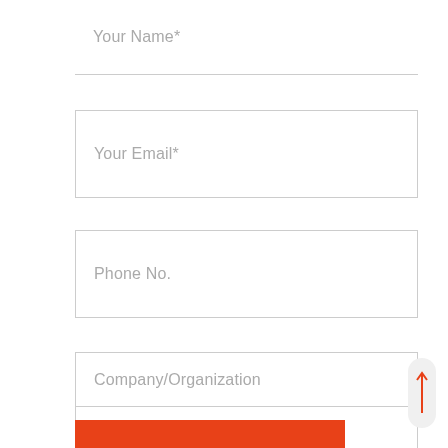Your Name*
Your Email*
Phone No.
Company/Organization
Additional Info...